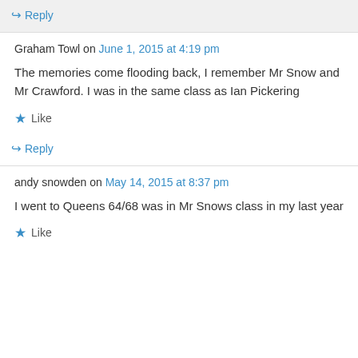↪ Reply
Graham Towl on June 1, 2015 at 4:19 pm
The memories come flooding back, I remember Mr Snow and Mr Crawford. I was in the same class as Ian Pickering
★ Like
↪ Reply
andy snowden on May 14, 2015 at 8:37 pm
I went to Queens 64/68 was in Mr Snows class in my last year
★ Like